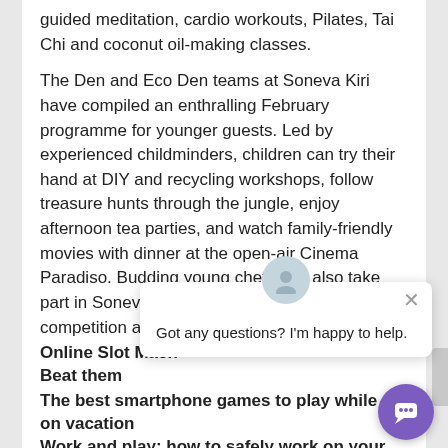guided meditation, cardio workouts, Pilates, Tai Chi and coconut oil-making classes. The Den and Eco Den teams at Soneva Kiri have compiled an enthralling February programme for younger guests. Led by experienced childminders, children can try their hand at DIY and recycling workshops, follow treasure hunts through the jungle, enjoy afternoon tea parties, and watch family-friendly movies with dinner at the open-air Cinema Paradiso. Budding young chefs can also take part in Soneva Kiri’s latest Junior MasterChef competition at the Cooking Hut, with fantastic prizes to be won.
[Figure (screenshot): Chat popup with avatar icon, close button (x), and text: Got any questions? I'm happy to help.]
Online Slot Machines Strategies to Beat them
The best smartphone games to play while on vacation
Work and play: how to safely work on your